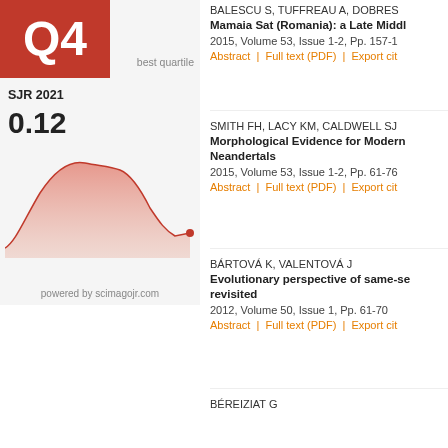[Figure (area-chart): Area chart showing SJR trend over time, Q4 quartile badge, value 0.12, powered by scimagojr.com]
BALESCU S, TUFFRAU A, DOBRES...
Mamaia Sat (Romania): a Late Middl...
2015, Volume 53, Issue 1-2, Pp. 157-1...
Abstract | Full text (PDF) | Export cit...
SMITH FH, LACY KM, CALDWELL SJ...
Morphological Evidence for Modern...
Neandertals
2015, Volume 53, Issue 1-2, Pp. 61-76...
Abstract | Full text (PDF) | Export cit...
BÁRTOVÁ K, VALENTOVÁ J
Evolutionary perspective of same-se...
revisited
2012, Volume 50, Issue 1, Pp. 61-70
Abstract | Full text (PDF) | Export cit...
BÉREIZIAT G